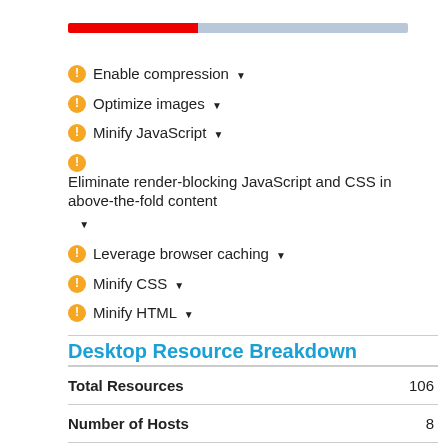[Figure (other): Horizontal progress bar with red segment on left and light blue segment on right]
Enable compression ▾
Optimize images ▾
Minify JavaScript ▾
Eliminate render-blocking JavaScript and CSS in above-the-fold content ▾
Leverage browser caching ▾
Minify CSS ▾
Minify HTML ▾
Desktop Resource Breakdown
|  |  |
| --- | --- |
| Total Resources | 106 |
| Number of Hosts | 8 |
| Static Resources | 14 |
| JavaScript Resources | 24 |